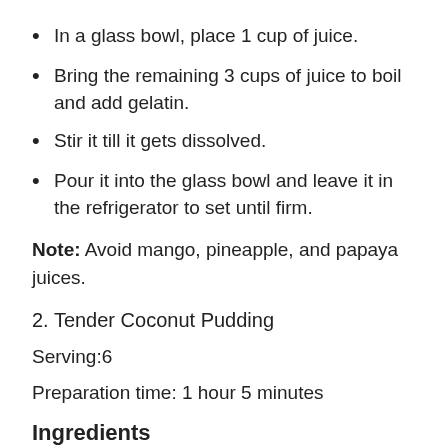In a glass bowl, place 1 cup of juice.
Bring the remaining 3 cups of juice to boil and add gelatin.
Stir it till it gets dissolved.
Pour it into the glass bowl and leave it in the refrigerator to set until firm.
Note: Avoid mango, pineapple, and papaya juices.
2. Tender Coconut Pudding
Serving:6
Preparation time: 1 hour 5 minutes
Ingredients